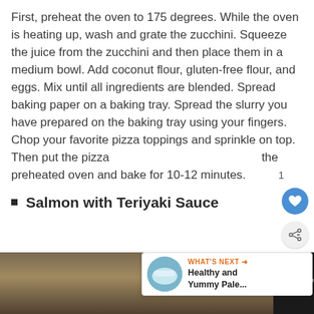First, preheat the oven to 175 degrees. While the oven is heating up, wash and grate the zucchini. Squeeze the juice from the zucchini and then place them in a medium bowl. Add coconut flour, gluten-free flour, and eggs. Mix until all ingredients are blended. Spread baking paper on a baking tray. Spread the slurry you have prepared on the baking tray using your fingers. Chop your favorite pizza toppings and sprinkle on top. Then put the pizza the preheated oven and bake for 10-12 minutes.
Salmon with Teriyaki Sauce
[Figure (photo): Partial view of a food photo at the bottom of the page, mostly dark/black bar with a small strip of food image visible]